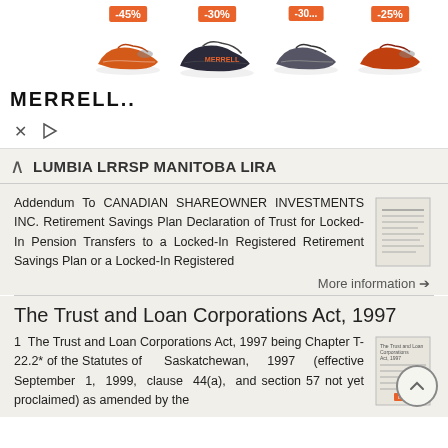[Figure (screenshot): Merrell shoe advertisement banner showing four shoes with discount badges: -45%, -30%, -30%, -25%. Merrell logo bottom left.]
COLUMBIA LRRSP MANITOBA LIRA
Addendum To CANADIAN SHAREOWNER INVESTMENTS INC. Retirement Savings Plan Declaration of Trust for Locked-In Pension Transfers to a Locked-In Registered Retirement Savings Plan or a Locked-In Registered
More information →
The Trust and Loan Corporations Act, 1997
1  The Trust and Loan Corporations Act, 1997 being Chapter T-22.2* of the Statutes of Saskatchewan, 1997 (effective September 1, 1999, clause 44(a), and section 57 not yet proclaimed) as amended by the